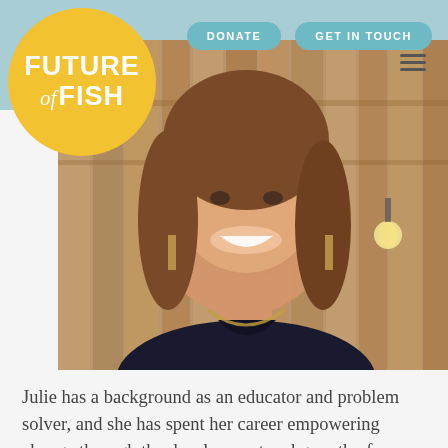[Figure (logo): Future of Fish logo: a yellow circle with white bold text FUTURE of FISH]
DONATE
GET IN TOUCH
[Figure (photo): A smiling young woman with brown hair and sparkly earrings, standing in front of a wooden fence background.]
Julie has a background as an educator and problem solver, and she has spent her career empowering change through the development and growth of innovative programs. Her expertise is in operations